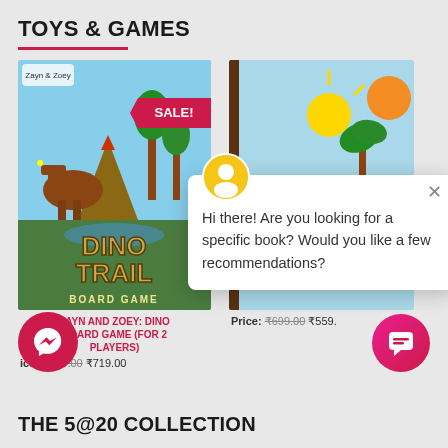TOYS & GAMES
[Figure (photo): Zayn and Zoey Dino Trail Board Game product image with SALE! badge]
[Figure (photo): Seasons Match board game product image]
ZAYN AND ZOEY: DINO BOARD GAME (FOR 2 PLAYERS)
Price: ₹899.00 ₹719.00
[Figure (screenshot): Chat popup: Hi there! Are you looking for a specific book? Would you like a few recommendations?]
Price: ₹699.00 ₹559.
THE 5@20 COLLECTION